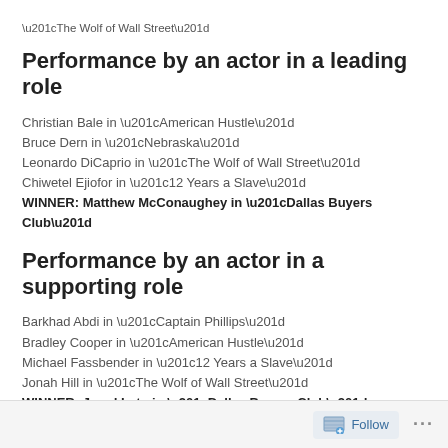“The Wolf of Wall Street”
Performance by an actor in a leading role
Christian Bale in “American Hustle”
Bruce Dern in “Nebraska”
Leonardo DiCaprio in “The Wolf of Wall Street”
Chiwetel Ejiofor in “12 Years a Slave”
WINNER: Matthew McConaughey in “Dallas Buyers Club”
Performance by an actor in a supporting role
Barkhad Abdi in “Captain Phillips”
Bradley Cooper in “American Hustle”
Michael Fassbender in “12 Years a Slave”
Jonah Hill in “The Wolf of Wall Street”
WINNER: Jared Leto in “Dallas Buyers Club”
Follow ...